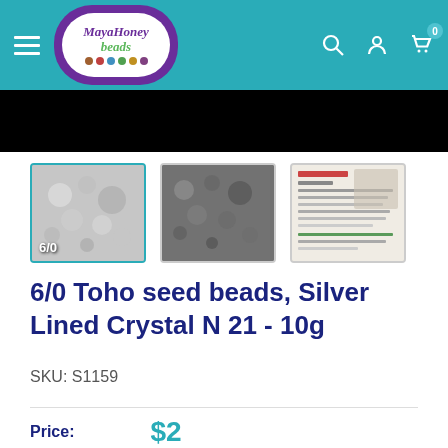MayaHoney beads
[Figure (photo): Hero product image showing silver seed beads close-up]
[Figure (photo): Three product thumbnail images: silver lined crystal beads 6/0, close-up grey beads, and product info sheet]
6/0 Toho seed beads, Silver Lined Crystal N 21 - 10g
SKU: S1159
Price: $2